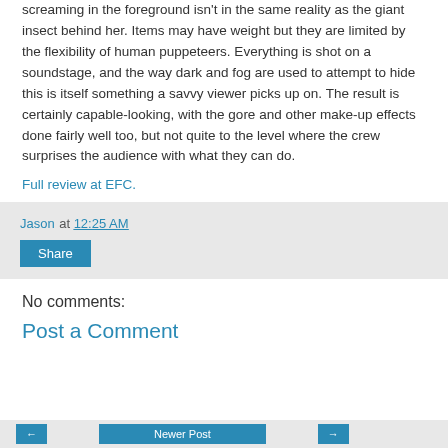screaming in the foreground isn't in the same reality as the giant insect behind her. Items may have weight but they are limited by the flexibility of human puppeteers. Everything is shot on a soundstage, and the way dark and fog are used to attempt to hide this is itself something a savvy viewer picks up on. The result is certainly capable-looking, with the gore and other make-up effects done fairly well too, but not quite to the level where the crew surprises the audience with what they can do.
Full review at EFC.
Jason at 12:25 AM
Share
No comments:
Post a Comment